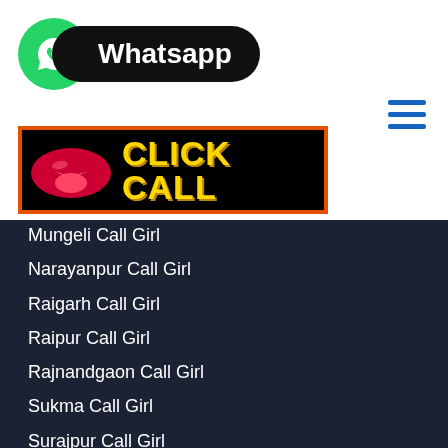[Figure (logo): WhatsApp logo with green circle icon and black pill-shaped badge with white text 'Whatsapp']
[Figure (infographic): Black banner with orange border showing red lips icon and yellow bold text 'CLICK CALL']
[Figure (other): Hamburger menu icon with three blue horizontal lines]
Mungeli Call Girl
Narayanpur Call Girl
Raigarh Call Girl
Raipur Call Girl
Rajnandgaon Call Girl
Sukma Call Girl
Surajpur Call Girl